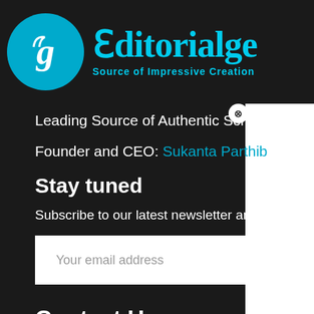[Figure (logo): Editorialge logo with blue circle containing a stylized 'g' letter and brand name 'Editorialge - Source of Impressive Creation' in cyan on dark background]
Leading Source of Authentic Scholarly Artic...
Founder and CEO: Sukanta Parthib
Stay tuned
Subscribe to our latest newsletter and never miss the la...
Your email address
Contact Us
contacteditorialge@gmail.com